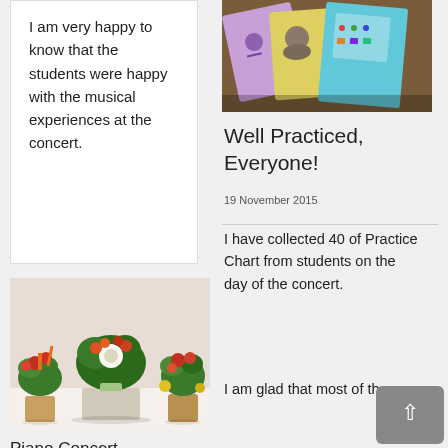I am very happy to know that the students were happy with the musical experiences at the concert.
[Figure (photo): Photo of colorful educational cards/booklets spread on a wooden surface — purple, yellow, and blue colors with drawings]
Well Practiced, Everyone!
19 November 2015
I have collected 40 of Practice Chart from students on the day of the concert.
I am glad that most of them
[Figure (photo): Photo of three floral/vegetable arrangements in pots on a white surface]
Piano Concert